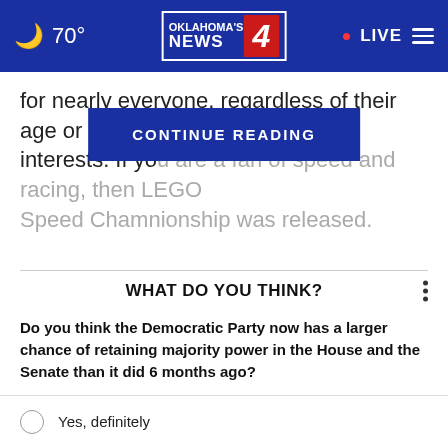70° Oklahoma's News 4 • LIVE
for nearly everyone, regardless of their age or interests. If yo[u are a fan of speed and racing], then LEGO Speed Chamni[onship was relea]sed.
CONTINUE READING
WHAT DO YOU THINK?
Do you think the Democratic Party now has a larger chance of retaining majority power in the House and the Senate than it did 6 months ago?
Yes, definitely
Maybe, I'm not sure
No, not really
Other / No opinion